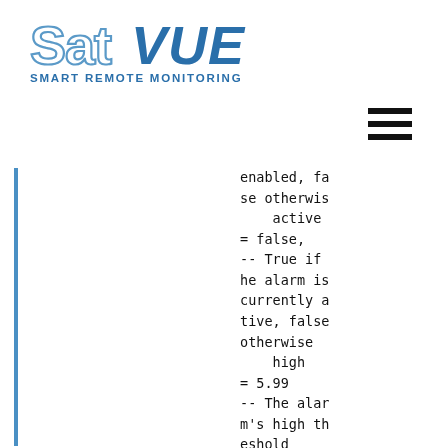[Figure (logo): SatVUE Smart Remote Monitoring logo — stylized text with 'Sat' in light blue outline letters and 'VUE' in bold solid blue, with 'SMART REMOTE MONITORING' in blue capitals below]
[Figure (other): Hamburger menu icon — three horizontal black bars]
enabled, false otherwise
    active = false,
-- True if the alarm is currently active, false otherwise
    high = 5.99
-- The alarm's high threshold
    low = 1.23